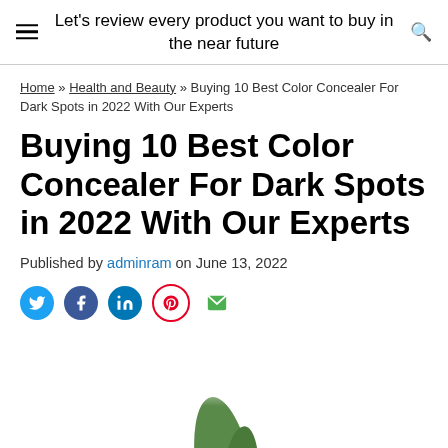Let's review every product you want to buy in the near future
Home » Health and Beauty » Buying 10 Best Color Concealer For Dark Spots in 2022 With Our Experts
Buying 10 Best Color Concealer For Dark Spots in 2022 With Our Experts
Published by adminram on June 13, 2022
[Figure (other): Social sharing icons: Twitter (blue bird), Facebook (blue f), LinkedIn (blue in), Pinterest (red P), Email (green envelope)]
[Figure (photo): Partial image of a green cosmetic product or leaf at the bottom of the page]